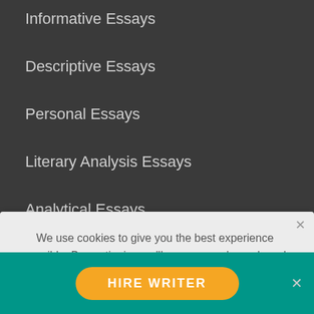Informative Essays
Descriptive Essays
Personal Essays
Literary Analysis Essays
Analytical Essays
Reflective Essays
Cause And Effect Essays
Definition Essays
Rhetorical Essays
Common App Essays
Evaluation Essays
We use cookies to give you the best experience possible. By continuing we'll assume you're on board with our cookie policy
[Figure (screenshot): Orange chat bubble icon with speech bubble symbol]
HIRE WRITER